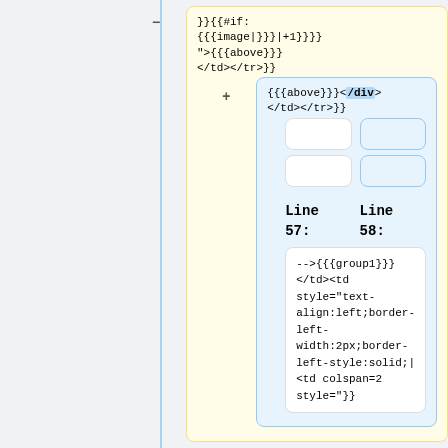[Figure (screenshot): Diff view showing code comparison. Left column (yellow box, minus sign): }}{{#if: {{{image|}}}|+1}}}">{{{above}}} </td></tr>}}<!--. Right column (blue box, plus sign): }}{{#if: {{{image|}}}|+1}}}">[highlighted: <div>]. Second right blue box (plus sign): {{{above}}}[highlighted: </div>] </td></tr>}}<!--. Empty placeholder boxes. Line 57 and Line 58 labels. Two white code boxes with: -->{{{group1}}} </td><td style="text-align:left;border-left-width:2px;border-left-style:solid;| <td colspan=2 style="}}<!--. Bottom partial boxes.]